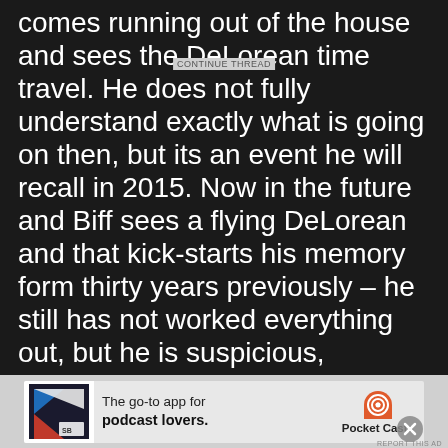comes running out of the house and sees the DeLorean time travel. He does not fully understand exactly what is going on then, but its an event he will recall in 2015. Now in the future and Biff sees a flying DeLorean and that kick-starts his memory form thirty years previously – he still has not worked everything out, but he is suspicious, especially when he sees two Marty Jnrs running around. One the real son of Marty from 2015 and one Marty himself
[Figure (other): Advertisement banner for Pocket Casts app: 'The go-to app for podcast lovers.' with Pocket Casts logo and brand name. Includes a close button (X).]